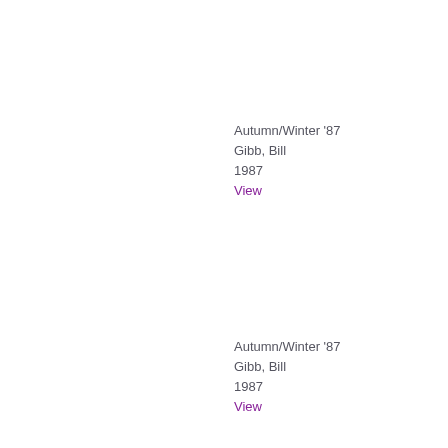Autumn/Winter '87
Gibb, Bill
1987
View
Autumn/Winter '87
Gibb, Bill
1987
View